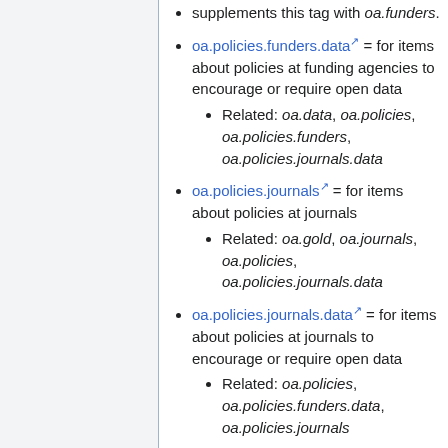supplements this tag with oa.funders.
oa.policies.funders.data = for items about policies at funding agencies to encourage or require open data
Related: oa.data, oa.policies, oa.policies.funders, oa.policies.journals.data
oa.policies.journals = for items about policies at journals
Related: oa.gold, oa.journals, oa.policies, oa.policies.journals.data
oa.policies.journals.data = for items about policies at journals to encourage or require open data
Related: oa.policies, oa.policies.funders.data, oa.policies.journals